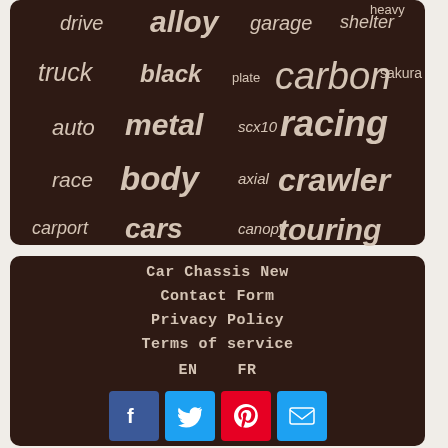[Figure (infographic): Word cloud on dark brown background with automotive-related terms. Words include: drive, alloy, garage, shelter, heavy, truck, black, plate, carbon, sakura, auto, metal, scx10, racing, race, body, axial, crawler, carport, cars, canopy, touring. Words vary in size indicating frequency/importance.]
Car Chassis New
Contact Form
Privacy Policy
Terms of service
EN    FR
[Figure (infographic): Social media icon buttons: Facebook (blue), Twitter (light blue), Pinterest (red), Email (light blue)]